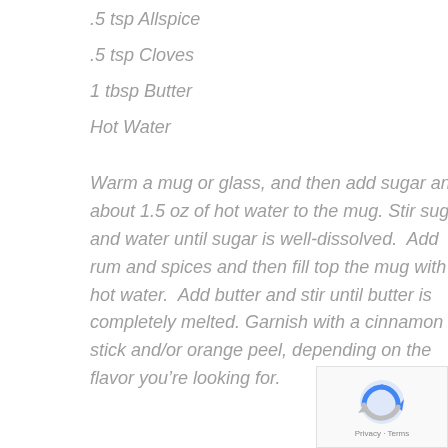.5 tsp Allspice
.5 tsp Cloves
1 tbsp Butter
Hot Water
Warm a mug or glass, and then add sugar and about 1.5 oz of hot water to the mug. Stir sugar and water until sugar is well-dissolved.  Add rum and spices and then fill top the mug with hot water.  Add butter and stir until butter is completely melted. Garnish with a cinnamon stick and/or orange peel, depending on the flavor you’re looking for.